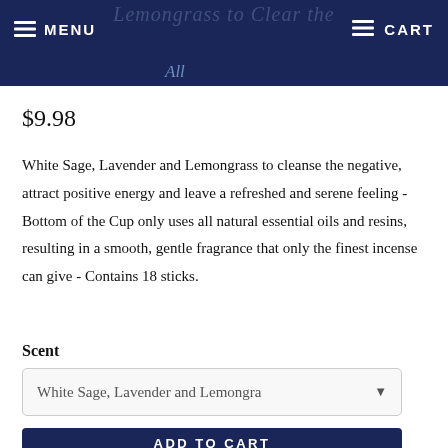MENU   CART
All
$9.98
White Sage, Lavender and Lemongrass to cleanse the negative, attract positive energy and leave a refreshed and serene feeling - Bottom of the Cup only uses all natural essential oils and resins, resulting in a smooth, gentle fragrance that only the finest incense can give - Contains 18 sticks.
Scent
White Sage, Lavender and Lemongra
ADD TO CART